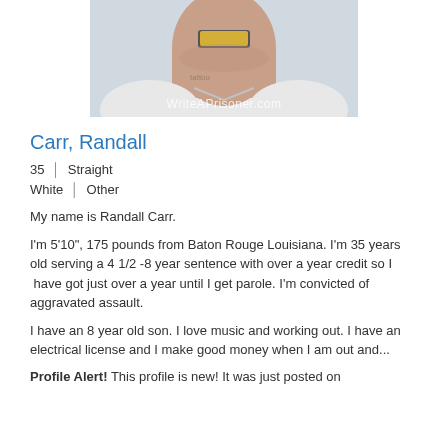[Figure (photo): Photo of Randall Carr, a man wearing a white hoodie and chain necklace, with neck tattoos, with a watermark reading WriteAPrisoner.com]
Carr, Randall
35 | Straight
White | Other
My name is Randall Carr.
I'm 5'10", 175 pounds from Baton Rouge Louisiana. I'm 35 years old serving a 4 1/2 -8 year sentence with over a year credit so I  have got just over a year until I get parole. I'm convicted of aggravated assault.
I have an 8 year old son. I love music and working out. I have an electrical license and I make good money when I am out and...
Profile Alert! This profile is new! It was just posted on